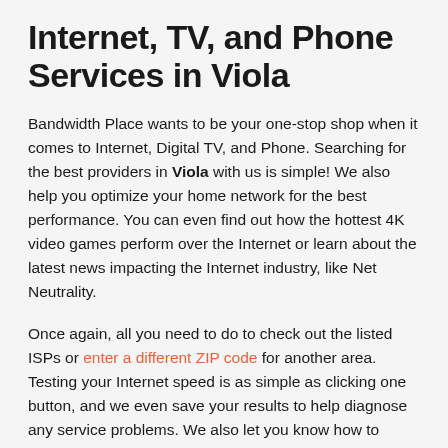Internet, TV, and Phone Services in Viola
Bandwidth Place wants to be your one-stop shop when it comes to Internet, Digital TV, and Phone. Searching for the best providers in Viola with us is simple! We also help you optimize your home network for the best performance. You can even find out how the hottest 4K video games perform over the Internet or learn about the latest news impacting the Internet industry, like Net Neutrality.
Once again, all you need to do to check out the listed ISPs or enter a different ZIP code for another area. Testing your Internet speed is as simple as clicking one button, and we even save your results to help diagnose any service problems. We also let you know how to optimize your wireless Internet performance. We know all about fiber Internet, how to find a phone plan with unlimited data, and